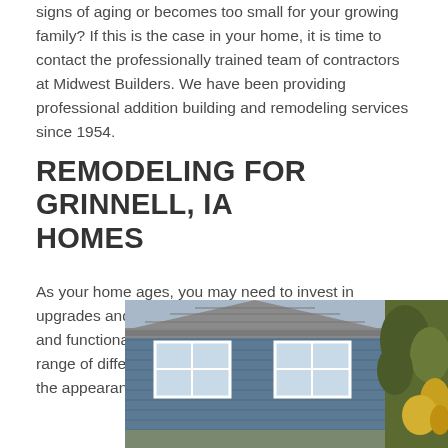signs of aging or becomes too small for your growing family? If this is the case in your home, it is time to contact the professionally trained team of contractors at Midwest Builders. We have been providing professional addition building and remodeling services since 1954.
REMODELING FOR GRINNELL, IA HOMES
As your home ages, you may need to invest in upgrades and improvements to keep the home's value and functionality up. Midwest Builders can provide a range of different remodeling services to enhance both the appearance and practicality of your home:
[Figure (photo): Photo of a house exterior with blue/grey siding, white framed windows, grey shingle roof, and trees visible on the right side.]